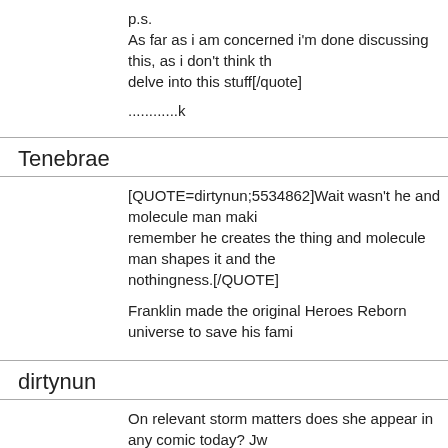p.s.
As far as i am concerned i'm done discussing this, as i don't think th delve into this stuff[/quote]
............k
Tenebrae
[QUOTE=dirtynun;5534862]Wait wasn't he and molecule man maki remember he creates the thing and molecule man shapes it and the nothingness.[/QUOTE]
Franklin made the original Heroes Reborn universe to save his fami
dirtynun
On relevant storm matters does she appear in any comic today? Jw COTA.
[QUOTE=Tenebrae;5534865]Franklin made the original Heroes Reb family/Avengers.[/QUOTE]